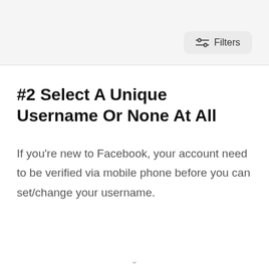[Figure (screenshot): Top UI bar area with light gray background, a horizontal divider, and a Filters button with sliders icon on the right side.]
#2 Select A Unique Username Or None At All
If you’re new to Facebook, your account need to be verified via mobile phone before you can set/change your username.